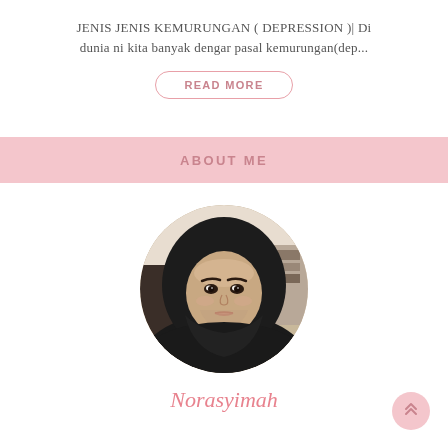JENIS JENIS KEMURUNGAN ( DEPRESSION )| Di dunia ni kita banyak dengar pasal kemurungan(dep...
READ MORE
ABOUT ME
[Figure (photo): Circular profile photo of a woman wearing a black hijab, looking at the camera, indoor background]
Norasyimah